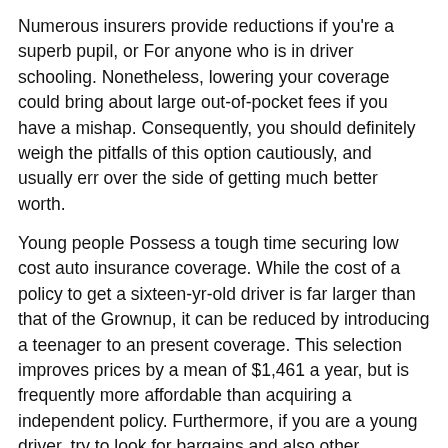Numerous insurers provide reductions if you're a superb pupil, or For anyone who is in driver schooling. Nonetheless, lowering your coverage could bring about large out-of-pocket fees if you have a mishap. Consequently, you should definitely weigh the pitfalls of this option cautiously, and usually err over the side of getting much better worth.
Young people Possess a tough time securing low cost auto insurance coverage. While the cost of a policy to get a sixteen-yr-old driver is far larger than that of the Grownup, it can be reduced by introducing a teenager to an present coverage. This selection improves prices by a mean of $1,461 a year, but is frequently more affordable than acquiring a independent policy. Furthermore, if you are a young driver, try to look for bargains and also other strategies to save lots of.
Most economical car insurance policies for small-hazard motorists